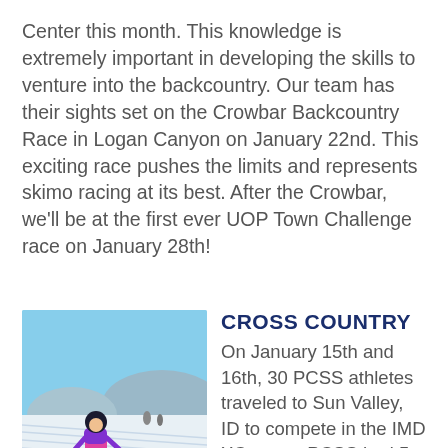Center this month. This knowledge is extremely important in developing the skills to venture into the backcountry. Our team has their sights set on the Crowbar Backcountry Race in Logan Canyon on January 22nd. This exciting race pushes the limits and represents skimo racing at its best. After the Crowbar, we'll be at the first ever UOP Town Challenge race on January 28th!
[Figure (photo): A young child in a pink and purple ski outfit skiing on a groomed Nordic track outdoors with hills and sky in background]
CROSS COUNTRY
On January 15th and 16th, 30 PCSS athletes traveled to Sun Valley, ID to compete in the IMD XC races. PCSS had 5 podium finishes Tegan Hoffman skipped some swim practices to get two podiums in her first races as a U14 athlete. Ian Carmack was 2nd in the U14 Classic